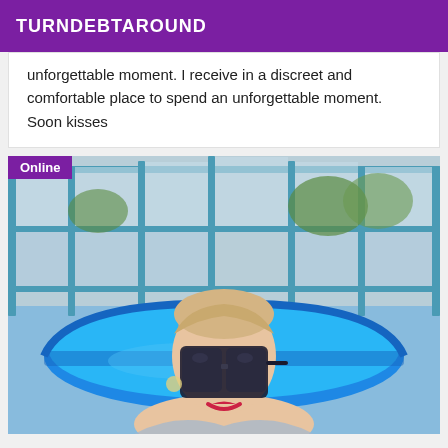TURNDEBTAROUND
unforgettable moment. I receive in a discreet and comfortable place to spend an unforgettable moment. Soon kisses
[Figure (photo): Woman with blonde hair and large dark sunglasses taking a selfie near a blue inflatable pool. Background shows a greenhouse or fence structure with blue metal frames. An 'Online' badge is in the top-left corner.]